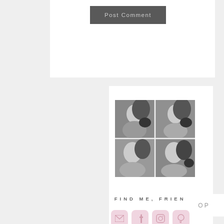Post Comment
[Figure (photo): A 2x2 collage of four black-and-white photos showing a woman with curly hair and glasses posing with a dark-colored French Bulldog]
FIND ME, FRIEND ME
[Figure (infographic): Row of four social media icon buttons: email, Facebook, Instagram, Pinterest — in pink/rose color]
OP